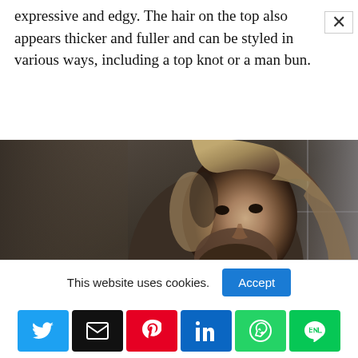expressive and edgy. The hair on the top also appears thicker and fuller and can be styled in various ways, including a top knot or a man bun.
[Figure (photo): Bearded man with a long undercut hairstyle, shot in moody dark tones, half-shaved sides with long hair on top pulled back]
This website uses cookies.
[Figure (infographic): Social sharing bar with Twitter, Email, Pinterest, LinkedIn, WhatsApp, and LINE buttons]